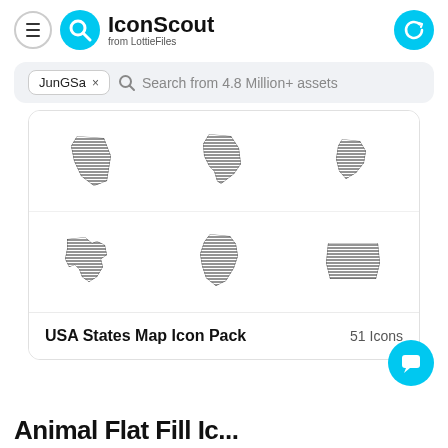[Figure (screenshot): IconScout website header with hamburger menu, search magnifier logo, IconScout brand name with 'from LottieFiles' tagline, and a cyan refresh/account button on the right.]
[Figure (screenshot): Search bar with 'JunGSa x' tag pill and placeholder text 'Search from 4.8 Million+ assets']
[Figure (illustration): Icon pack card showing 6 striped USA state map icons arranged in a 3x2 grid. Top row: Georgia, Florida-like shape, South Carolina-like shape. Bottom row: Michigan, Wisconsin, Iowa-like shapes. All rendered with horizontal line-fill style.]
USA States Map Icon Pack
51 Icons
Animal Flat Fill Ic...